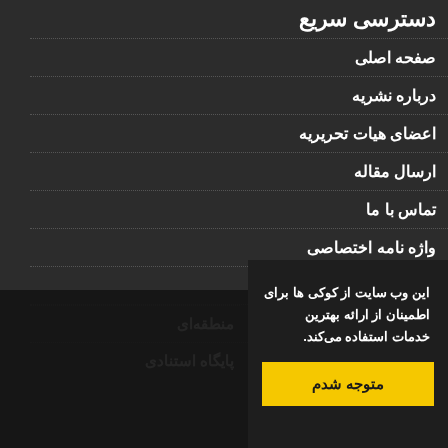دسترسی سریع
صفحه اصلی
درباره نشریه
اعضای هیات تحریریه
ارسال مقاله
تماس با ما
واژه نامه اختصاصی
اشتراک نسخه چاپی نشریه
نقشه سایت
این وب سایت از کوکی ها برای اطمینان از ارائه بهترین خدمات استفاده می‌کند.
متوجه شدم